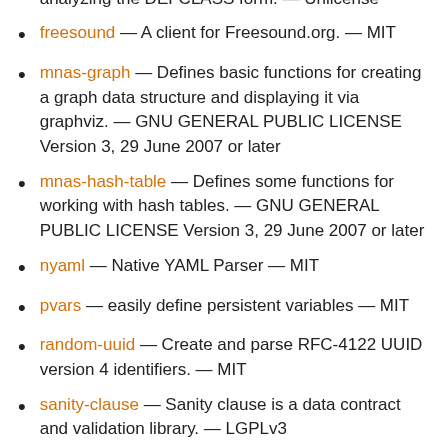automatically detect the suitable metaclass by analyzing the DEFCLASS form. — Unlicense
freesound — A client for Freesound.org. — MIT
mnas-graph — Defines basic functions for creating a graph data structure and displaying it via graphviz. — GNU GENERAL PUBLIC LICENSE Version 3, 29 June 2007 or later
mnas-hash-table — Defines some functions for working with hash tables. — GNU GENERAL PUBLIC LICENSE Version 3, 29 June 2007 or later
nyaml — Native YAML Parser — MIT
pvars — easily define persistent variables — MIT
random-uuid — Create and parse RFC-4122 UUID version 4 identifiers. — MIT
sanity-clause — Sanity clause is a data contract and validation library. — LGPLv3
seedable-rng — A seedable random number generator. — MIT